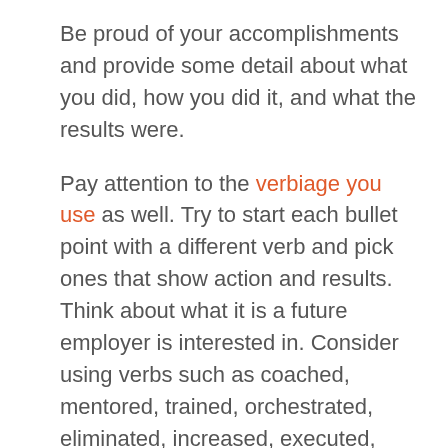Be proud of your accomplishments and provide some detail about what you did, how you did it, and what the results were.
Pay attention to the verbiage you use as well. Try to start each bullet point with a different verb and pick ones that show action and results. Think about what it is a future employer is interested in. Consider using verbs such as coached, mentored, trained, orchestrated, eliminated, increased, executed, implemented, or restructured. These verbs pack more of a punch than “responsible for” or “tasked with.”
Try to look at your job from a different perspective. Think about what you enjoyed